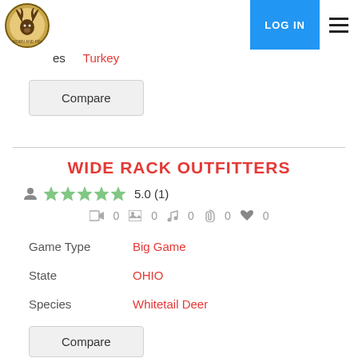LOG IN
es   Turkey
Compare
WIDE RACK OUTFITTERS
5.0 (1)
0  0  0  0  0
Game Type   Big Game
State   OHIO
Species   Whitetail Deer
Compare